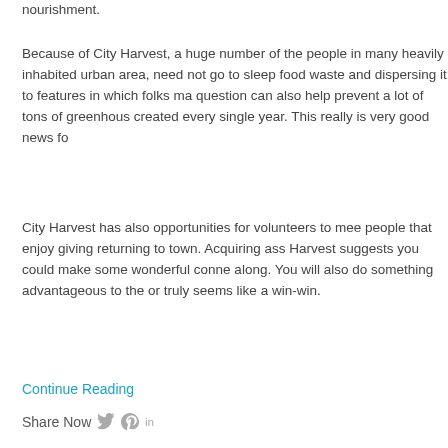nourishment.
Because of City Harvest, a huge number of the people in many heavily inhabited urban area, need not go to sleep food waste and dispersing it to features in which folks ma question can also help prevent a lot of tons of greenhous created every single year. This really is very good news fo
City Harvest has also opportunities for volunteers to mee people that enjoy giving returning to town. Acquiring ass Harvest suggests you could make some wonderful conne along. You will also do something advantageous to the or truly seems like a win-win.
Continue Reading
Share Now